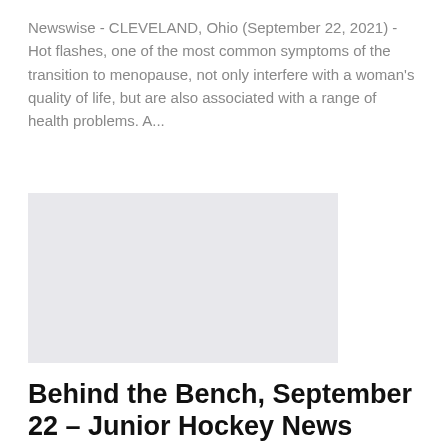Newswise - CLEVELAND, Ohio (September 22, 2021) - Hot flashes, one of the most common symptoms of the transition to menopause, not only interfere with a woman's quality of life, but are also associated with a range of health problems. A...
[Figure (photo): Light grey placeholder image rectangle]
Behind the Bench, September 22 – Junior Hockey News
Richard A. Owe...   Sep 22, 2021
VICTORIOUS HOCKEY COMPANY Weekly Bulletin: TOP SPORT PSYCHOLOGIST TALKS HOW CHAMPIONS THINKBEST SPORTS